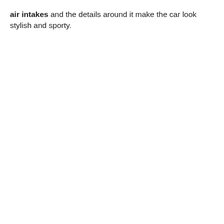air intakes and the details around it make the car look stylish and sporty.